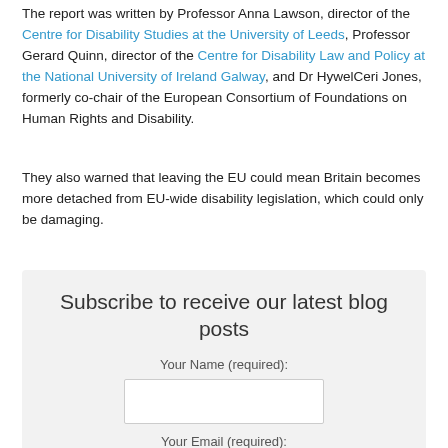The report was written by Professor Anna Lawson, director of the Centre for Disability Studies at the University of Leeds, Professor Gerard Quinn, director of the Centre for Disability Law and Policy at the National University of Ireland Galway, and Dr HywelCeri Jones, formerly co-chair of the European Consortium of Foundations on Human Rights and Disability.
They also warned that leaving the EU could mean Britain becomes more detached from EU-wide disability legislation, which could only be damaging.
Subscribe to receive our latest blog posts
Your Name (required):
Your Email (required):